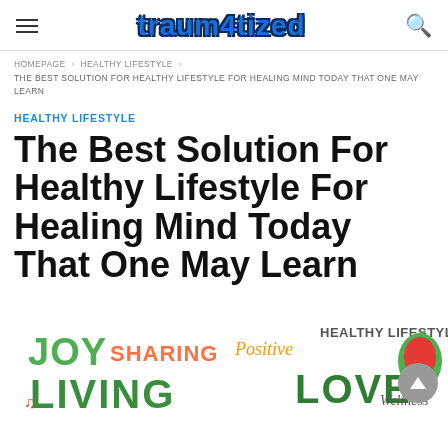traum4tized
HOMEPAGE › HEALTHY LIFESTYLE › THE BEST SOLUTION FOR HEALTHY LIFESTYLE FOR HEALING MIND TODAY THAT ONE MAY LEARN
HEALTHY LIFESTYLE
The Best Solution For Healthy Lifestyle For Healing Mind Today That One May Learn
[Figure (illustration): Colorful healthy lifestyle word cloud graphic featuring words: JOY, SHARING, Positive, HEALTHY LIFESTYLE, LOVE, LIVING, Wellness and others in green, orange, red, and teal colors. A scroll-to-top button (grey circle with up arrow) is visible in the bottom right.]